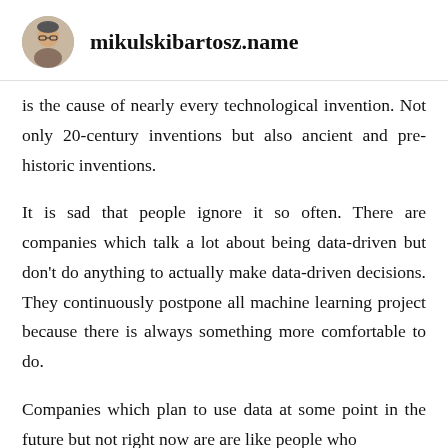mikulskibartosz.name
is the cause of nearly every technological invention. Not only 20-century inventions but also ancient and pre-historic inventions.
It is sad that people ignore it so often. There are companies which talk a lot about being data-driven but don’t do anything to actually make data-driven decisions. They continuously postpone all machine learning project because there is always something more comfortable to do.
Companies which plan to use data at some point in the future but not right now are are like people who